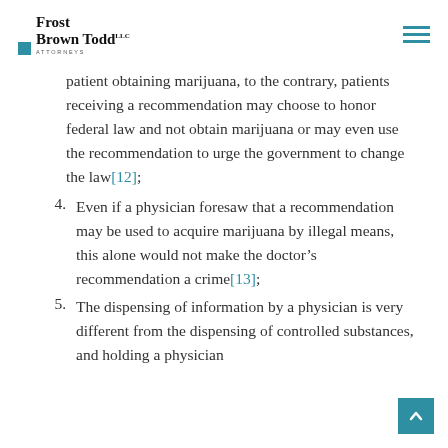Frost Brown Todd LLC Attorneys
patient obtaining marijuana, to the contrary, patients receiving a recommendation may choose to honor federal law and not obtain marijuana or may even use the recommendation to urge the government to change the law[12];
4. Even if a physician foresaw that a recommendation may be used to acquire marijuana by illegal means, this alone would not make the doctor’s recommendation a crime[13];
5. The dispensing of information by a physician is very different from the dispensing of controlled substances, and holding a physician